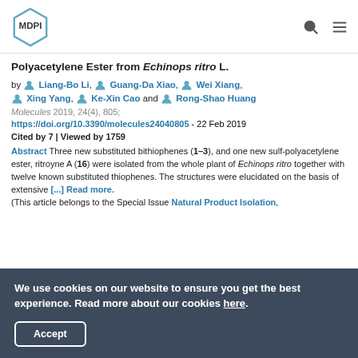MDPI logo with search and menu icons
Polyacetylene Ester from Echinops ritro L.
by Liang-Bo Li, Guang-Da Xiao, Wei Xiang, Xing Yang, Ke-Xin Cao and Rong-Shao Huang
Molecules 2019, 24(4), 805; https://doi.org/10.3390/molecules24040805 - 22 Feb 2019
Cited by 7 | Viewed by 1759
Abstract Three new substituted bithiophenes (1–3), and one new sulf-polyacetylene ester, ritroyne A (16) were isolated from the whole plant of Echinops ritro together with twelve known substituted thiophenes. The structures were elucidated on the basis of extensive [...] Read more.
(This article belongs to the Special Issue Natural Product Isolation,
We use cookies on our website to ensure you get the best experience. Read more about our cookies here. Accept